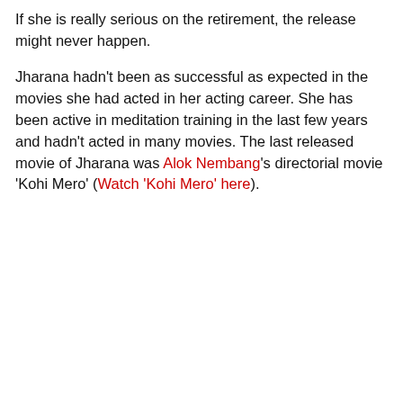If she is really serious on the retirement, the release might never happen.
Jharana hadn't been as successful as expected in the movies she had acted in her acting career. She has been active in meditation training in the last few years and hadn't acted in many movies. The last released movie of Jharana was Alok Nembang's directorial movie 'Kohi Mero' (Watch 'Kohi Mero' here).